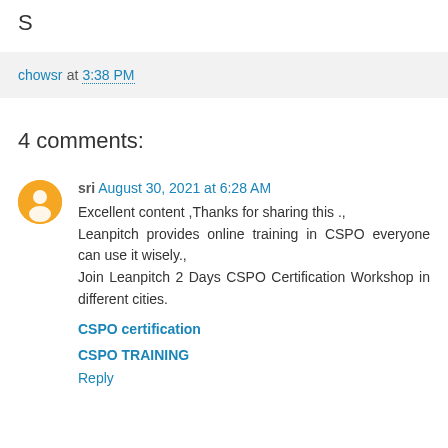S
chowsr at 3:38 PM
4 comments:
sri  August 30, 2021 at 6:28 AM
Excellent content ,Thanks for sharing this .,
Leanpitch provides online training in CSPO everyone can use it wisely.,
Join Leanpitch 2 Days CSPO Certification Workshop in different cities.

CSPO certification

CSPO TRAINING

Reply